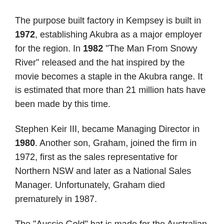The purpose built factory in Kempsey is built in 1972, establishing Akubra as a major employer for the region. In 1982 "The Man From Snowy River" released and the hat inspired by the movie becomes a staple in the Akubra range. It is estimated that more than 21 million hats have been made by this time.
Stephen Keir III, became Managing Director in 1980. Another son, Graham, joined the firm in 1972, first as the sales representative for Northern NSW and later as a National Sales Manager. Unfortunately, Graham died prematurely in 1987.
The "Aussie Gold" hat is made for the Australian Team at the 1984 Olympics.